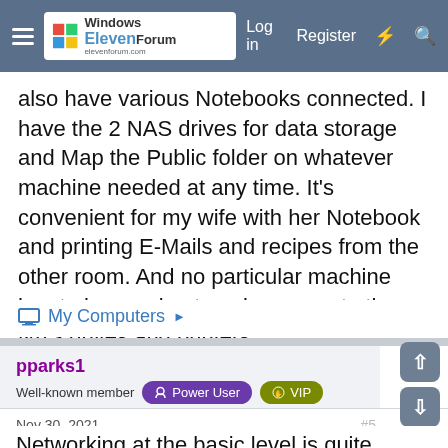Windows ElevenForum — Log in  Register
also have various Notebooks connected. I have the 2 NAS drives for data storage and Map the Public folder on whatever machine needed at any time. It's convenient for my wife with her Notebook and printing E-Mails and recipes from the other room. And no particular machine has to be running to gain access to the NAS drives and printers.
My Computers ▶
pparks1
Well-known member  Power User  VIP
Nov 30, 2021  #5
Networking at the basic level is quite simple. Let's